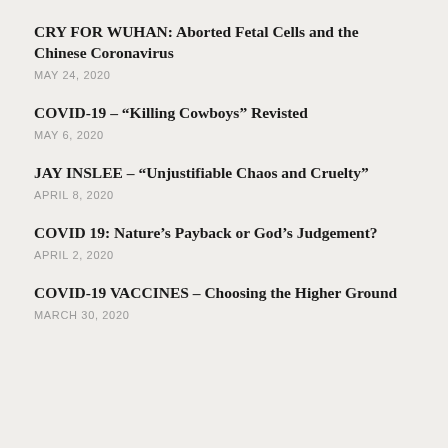CRY FOR WUHAN: Aborted Fetal Cells and the Chinese Coronavirus
MAY 24, 2020
COVID-19 – “Killing Cowboys” Revisted
MAY 6, 2020
JAY INSLEE – “Unjustifiable Chaos and Cruelty”
APRIL 8, 2020
COVID 19: Nature’s Payback or God’s Judgement?
APRIL 2, 2020
COVID-19 VACCINES – Choosing the Higher Ground
MARCH 30, 2020